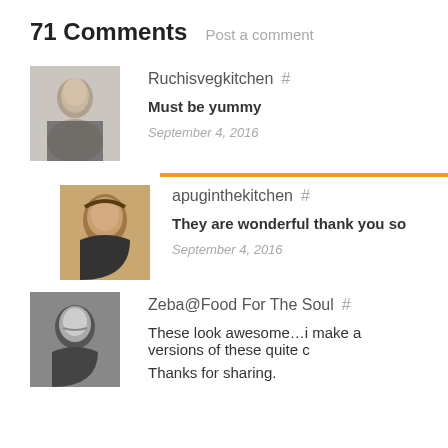71 Comments  Post a comment
[Figure (photo): Avatar photo of Ruchisvegkitchen, a woman with dark hair]
Ruchisvegkitchen  #
Must be yummy
September 4, 2016
[Figure (photo): Avatar photo of apuginthekitchen, a woman with dark curly hair]
apuginthekitchen  #
They are wonderful thank you so
September 4, 2016
[Figure (photo): Avatar photo of Zeba@Food For The Soul, a woman smiling, black and white photo]
Zeba@Food For The Soul  #
These look awesome…i make a versions of these quite c
Thanks for sharing.